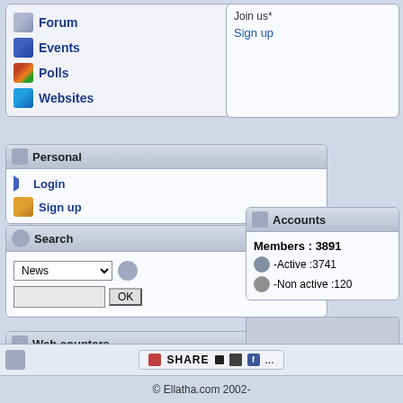Forum
Events
Polls
Websites
Personal
Login
Sign up
Search
Web counters
|  | Hits | Visitors |
| --- | --- | --- |
| Today | 32,545 | 28,960 |
| Yesterday | 42,508 | 38,597 |
| Top Day | 408,895
(06/02/22) | 255,979
(11/03/13) |
| Total | 350,543,894 | 284,362,430 |
Join us*
Sign up
Accounts
Members : 3891
-Active :3741
-Non active :120
© Ellatha.com 2002-